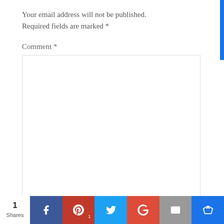Your email address will not be published. Required fields are marked *
Comment *
[Figure (screenshot): Empty comment text area input field with resize handle at bottom right]
1 Shares — Social share buttons: Facebook, Pinterest, Twitter, Google+, Email, Crown